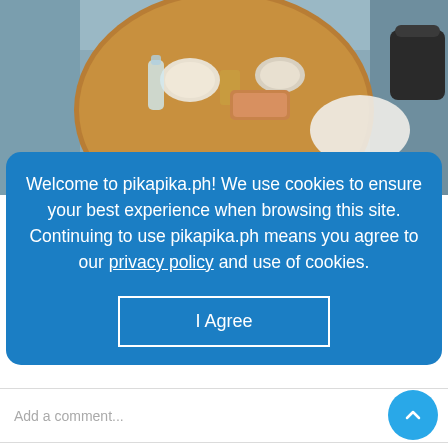[Figure (photo): Overhead photo of a round wooden table with food, drinks, and accessories viewed from above, with grey seating visible around it.]
Welcome to pikapika.ph! We use cookies to ensure your best experience when browsing this site. Continuing to use pikapika.ph means you agree to our privacy policy and use of cookies.
I Agree
Add a comment...
Lovi's rumored boyfriend Montgomery, or commonly called as Monty, is known for his work on these following films: The Prince (2014), Heist (2015) and Marauders (2016). His most recent